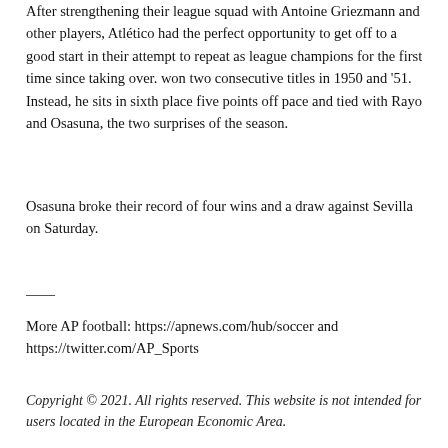After strengthening their league squad with Antoine Griezmann and other players, Atlético had the perfect opportunity to get off to a good start in their attempt to repeat as league champions for the first time since taking over. won two consecutive titles in 1950 and '51. Instead, he sits in sixth place five points off pace and tied with Rayo and Osasuna, the two surprises of the season.
Osasuna broke their record of four wins and a draw against Sevilla on Saturday.
——
More AP football: https://apnews.com/hub/soccer and https://twitter.com/AP_Sports
Copyright © 2021. All rights reserved. This website is not intended for users located in the European Economic Area.